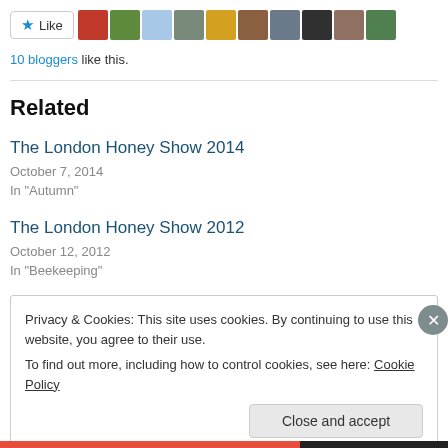[Figure (other): Like button with star icon followed by a strip of 10 blogger avatar thumbnails]
10 bloggers like this.
Related
The London Honey Show 2014
October 7, 2014
In "Autumn"
The London Honey Show 2012
October 12, 2012
In "Beekeeping"
Privacy & Cookies: This site uses cookies. By continuing to use this website, you agree to their use.
To find out more, including how to control cookies, see here: Cookie Policy
Close and accept